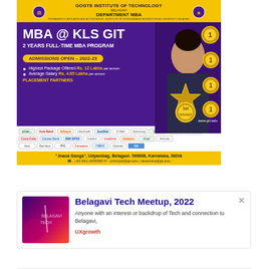[Figure (infographic): KLS GIT Department MBA advertisement banner with purple/yellow theme, showing MBA program details, admissions open 2022-23, placement stats, partner logos, and contact information. Features a woman in business attire and gold medal badges.]
[Figure (infographic): Belagavi Tech Meetup 2022 event card with thumbnail image, title, description and organizer UXgrowth]